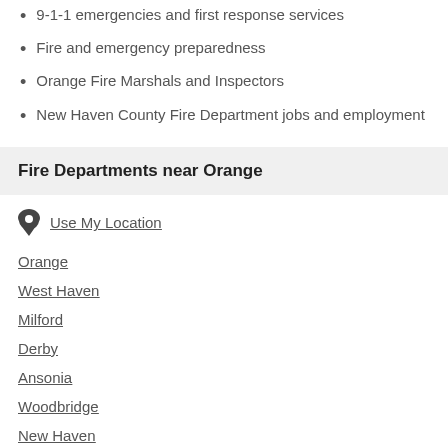9-1-1 emergencies and first response services
Fire and emergency preparedness
Orange Fire Marshals and Inspectors
New Haven County Fire Department jobs and employment
Fire Departments near Orange
Use My Location
Orange
West Haven
Milford
Derby
Ansonia
Woodbridge
New Haven